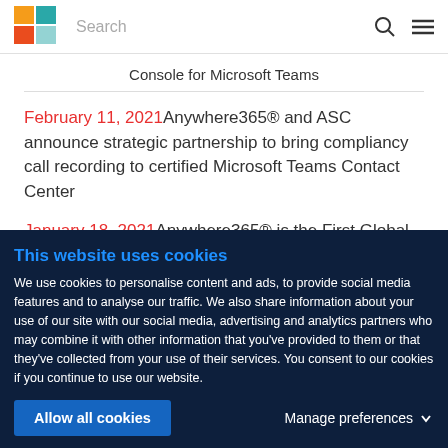Search
Console for Microsoft Teams
February 11, 2021 Anywhere365® and ASC announce strategic partnership to bring compliancy call recording to certified Microsoft Teams Contact Center
January 18, 2021 Anywhere365® is the First Global Certified Microsoft Teams Connected
This website uses cookies
We use cookies to personalise content and ads, to provide social media features and to analyse our traffic. We also share information about your use of our site with our social media, advertising and analytics partners who may combine it with other information that you've provided to them or that they've collected from your use of their services. You consent to our cookies if you continue to use our website.
Allow all cookies
Manage preferences